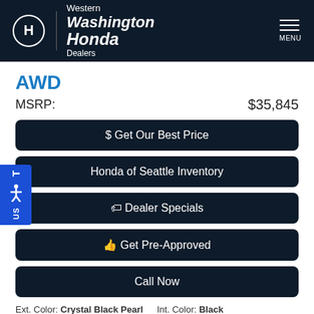[Figure (logo): Western Washington Honda Dealers logo with Honda wing emblem and menu icon]
AWD
MSRP: $35,845
$ Get Our Best Price
Honda of Seattle Inventory
🏷 Dealer Specials
👍 Get Pre-Approved
Call Now
Ext. Color: Crystal Black Pearl
Int. Color: Black
Transmission:
Stock: 223621